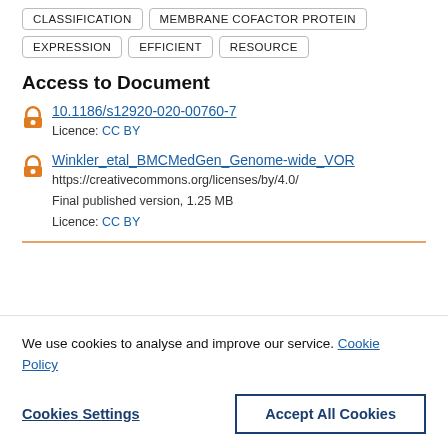CLASSIFICATION   MEMBRANE COFACTOR PROTEIN
EXPRESSION   EFFICIENT   RESOURCE
Access to Document
10.1186/s12920-020-00760-7
Licence: CC BY
Winkler_etal_BMCMedGen_Genome-wide_VOR
https://creativecommons.org/licenses/by/4.0/
Final published version, 1.25 MB
Licence: CC BY
We use cookies to analyse and improve our service. Cookie Policy
Cookies Settings   Accept All Cookies